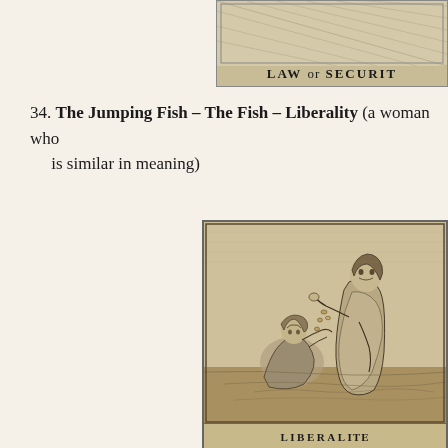[Figure (illustration): Partial view of an engraved plate showing 'LAW or SECURIT' text label at bottom, with diagonal line patterns above, cropped at right edge]
34. The Jumping Fish – The Fish – Liberality (a woman who is similar in meaning)
[Figure (illustration): Engraved illustration of Liberality: a standing woman in classical robes giving coins to a seated/kneeling figure. Label 'LIBERALITE' at bottom.]